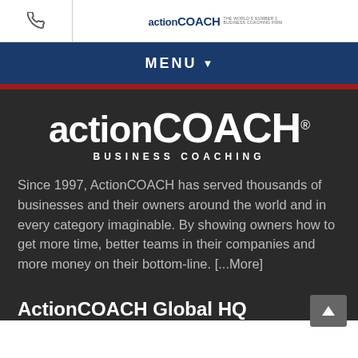ActionCOACH
MENU
[Figure (logo): ActionCOACH Business Coaching logo — large white text on dark background]
Since 1997, ActionCOACH has served thousands of businesses and their owners around the world and in every category imaginable. By showing owners how to get more time, better teams in their companies and more money on their bottom-line. [...More]
ActionCOACH Global HQ